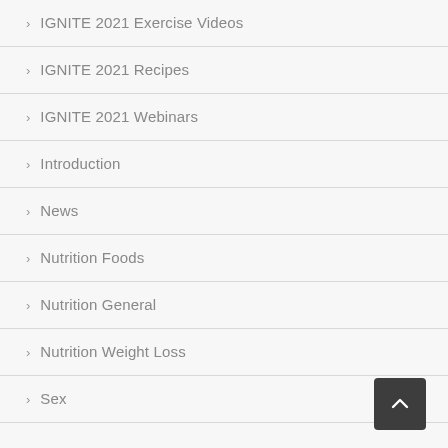IGNITE 2021 Exercise Videos
IGNITE 2021 Recipes
IGNITE 2021 Webinars
Introduction
News
Nutrition Foods
Nutrition General
Nutrition Weight Loss
Sex